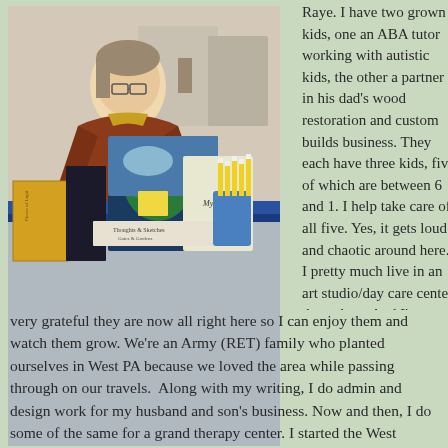[Figure (photo): A woman with glasses and a rust-colored sweater standing behind a table displaying books and artwork at what appears to be a book fair or market. Various painted artworks and books are visible on the table.]
Thanks to Leana of Leana's Books & More for the photo.
Raye. I have two grown kids, one an ABA tutor working with autistic kids, the other a partner in his dad's wood restoration and custom builds business. They each have three kids, five of which are between 6 and 1. I help take care of all five. Yes, it gets loud and chaotic around here. I pretty much live in an art studio/day care center these days. And I'm so very grateful they are now all right here so I can enjoy them and watch them grow. We're an Army (RET) family who planted ourselves in West PA because we loved the area while passing through on our travels. Along with my writing, I do admin and design work for my husband and son's business. Now and then, I do some of the same for a grand therapy center. I started the West...